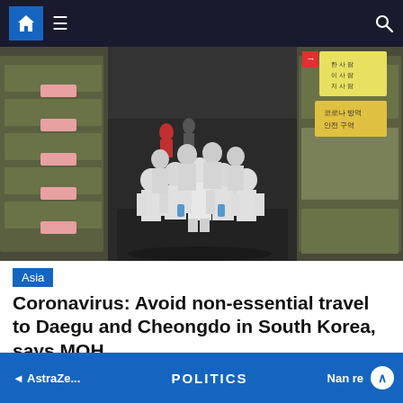Home | Menu | Search
[Figure (photo): Group of workers in white hazmat suits and masks walking through a market corridor in South Korea, with green tarps covering market stalls on either side and Korean signage visible]
Asia
Coronavirus: Avoid non-essential travel to Daegu and Cheongdo in South Korea, says MOH
◄ AstraZe... | POLITICS | Nan re ∧